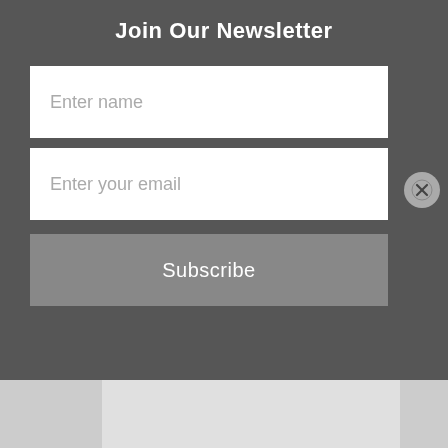Join Our Newsletter
Enter name
Enter your email
Subscribe
[Figure (screenshot): Partially visible blog post card with purple banner showing '~ Brene Brown ~', grey card body with quote mark, divider line, view/comment count icons (0, 0), and heart/like icon. Below: dot pagination indicators (3 dots, first filled red). At the bottom edge: social media icons bar (Facebook, Instagram, Pinterest, Twitter) on grey background.]